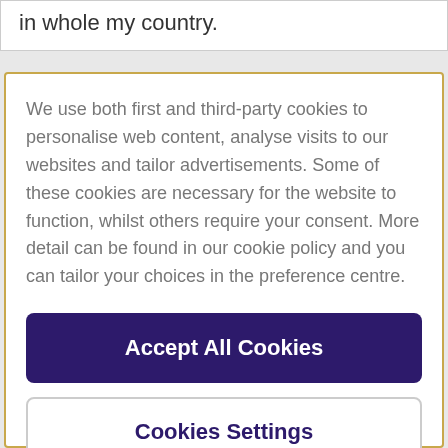in whole my country.
We use both first and third-party cookies to personalise web content, analyse visits to our websites and tailor advertisements. Some of these cookies are necessary for the website to function, whilst others require your consent. More detail can be found in our cookie policy and you can tailor your choices in the preference centre.
Accept All Cookies
Cookies Settings